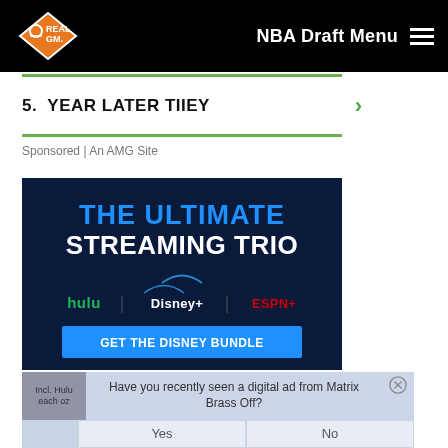NBA Draft Menu
5.  YEAR LATER TIIEY
Sponsored | An AMG Site
[Figure (advertisement): Disney Bundle ad with dark blue background showing 'THE ULTIMATE STREAMING TRIO' with Hulu, Disney+, and ESPN+ logos and a blue 'GET THE DISNEY BUNDLE' button]
Have you recently seen a digital ad from Matrix Brass Off?
Yes
No